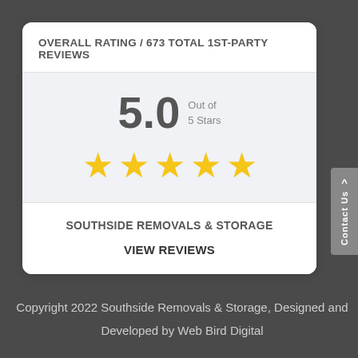OVERALL RATING / 673 TOTAL 1ST-PARTY REVIEWS
[Figure (infographic): 5-star rating display showing 5.0 out of 5 Stars with five gold stars]
SOUTHSIDE REMOVALS & STORAGE
VIEW REVIEWS
Copyright 2022 Southside Removals & Storage, Designed and Developed by Web Bird Digital